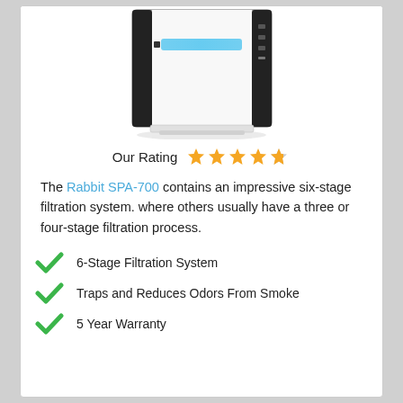[Figure (photo): Product photo of a white air purifier (Rabbit SPA-700) with black frame and a blue light indicator strip on the front panel, shown with a slight reflection below it.]
Our Rating ★★★★★
The Rabbit SPA-700 contains an impressive six-stage filtration system. where others usually have a three or four-stage filtration process.
6-Stage Filtration System
Traps and Reduces Odors From Smoke
5 Year Warranty